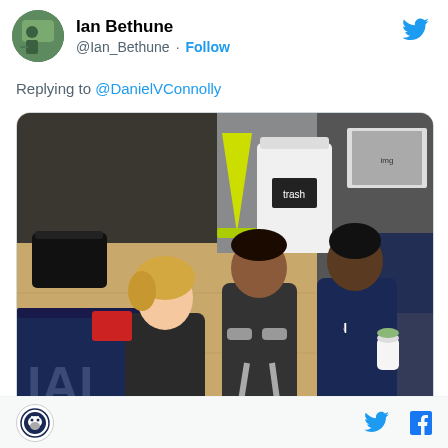Ian Bethune @Ian_Bethune · Follow
Replying to @DanielVConnolly
[Figure (photo): Basketball gym scene showing three people in dark athletic wear. Center person is using crutches and has a boot cast on one foot. Person on left has blonde hair and holds a drink. Person on right wears a UConn sweatshirt and holds a cup. Background shows a trash can, yellow cone, and gym equipment.]
UConn Huskies logo | Twitter icon | Facebook icon